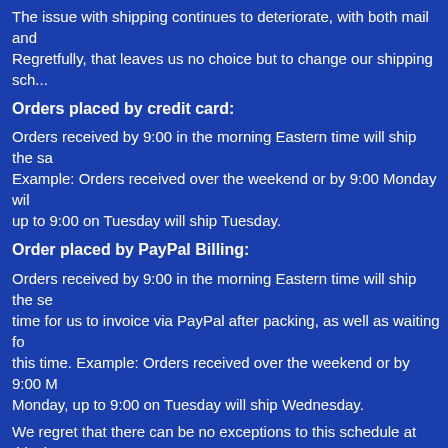The issue with shipping continues to deteriorate, with both mail and... Regretfully, that leaves us no choice but to change our shipping sch...
Orders placed by credit card:
Orders received by 9:00 in the morning Eastern time will ship the sa... Example: Orders received over the weekend or by 9:00 Monday wil... up to 9:00 on Tuesday will ship Tuesday.
Order placed by PayPal Billing:
Orders received by 9:00 in the morning Eastern time will ship the se... time for us to invoice via PayPal after packing, as well as waiting fo... this time. Example: Orders received over the weekend or by 9:00 M... Monday, up to 9:00 on Tuesday will ship Wednesday.
We regret that there can be no exceptions to this schedule at this tim... times will resolve itself, and then we can go back to a shorter shippi... been using PayPal billing and wish to shorten the wait time we enco...
As we have mentioned elsewhere on our site, we also encourage yo... and finances will allow. We have been successful in dramatically inc... availability in the past six months, but there are still, and will contin... simply do not get product to us in the promised time frame. That, in... efforts.